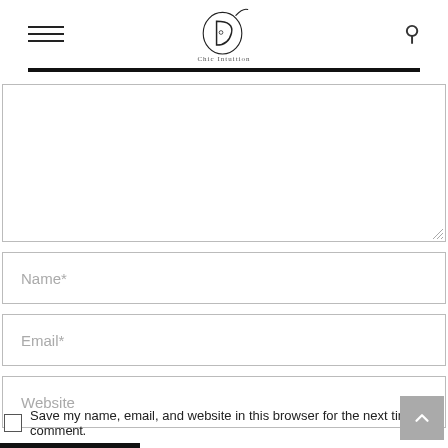[Figure (logo): Website logo with circular calligraphic D monogram and cursive text below, flanked by hamburger menu icon on left and search icon on right]
Name*
Email*
Website
Save my name, email, and website in this browser for the next time I comment.